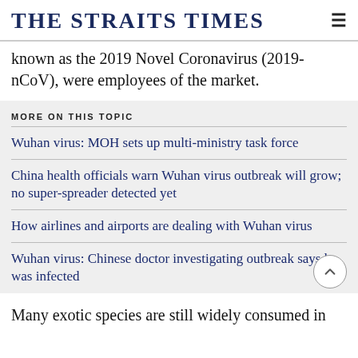THE STRAITS TIMES
known as the 2019 Novel Coronavirus (2019-nCoV), were employees of the market.
MORE ON THIS TOPIC
Wuhan virus: MOH sets up multi-ministry task force
China health officials warn Wuhan virus outbreak will grow; no super-spreader detected yet
How airlines and airports are dealing with Wuhan virus
Wuhan virus: Chinese doctor investigating outbreak says he was infected
Many exotic species are still widely consumed in